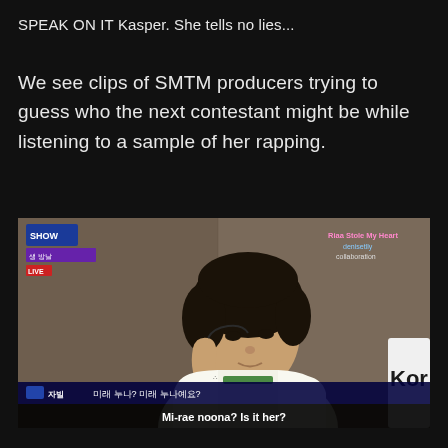SPEAK ON IT Kasper. She tells no lies...
We see clips of SMTM producers trying to guess who the next contestant might be while listening to a sample of her rapping.
[Figure (screenshot): A screenshot from a Korean TV show (SMTM) showing a young man with short dark hair listening with earphones, wearing a white sleeveless shirt. Top-left has network logo overlays. Top-right shows watermark text: 'Riaa Stole My Heart / denisetlly / collaboration'. Bottom shows Korean subtitle bar with name tag and Korean text '미래 누나? 미래 누나예요?' and English subtitle 'Mi-rae noona? Is it her?']